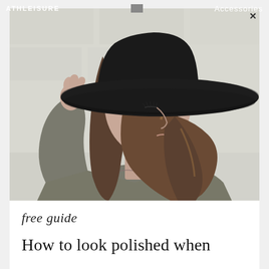ATHLEISURE   Accessories
[Figure (photo): Young woman wearing a wide-brim black felt hat and olive/gray sweatshirt, photographed against a white brick/wall background. She is holding the brim of her hat with one hand, eyes downcast, with long brown highlighted hair falling over her shoulder. A small tattoo is visible on her collarbone.]
free guide
How to look polished when